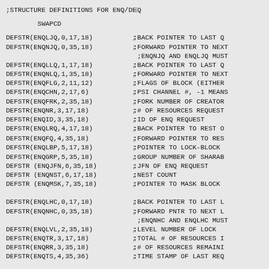;STRUCTURE DEFINITIONS FOR ENQ/DEQ
SWAPCD
DEFSTR(ENQLJQ,0,17,18)
DEFSTR(ENQNJQ,0,35,18)

DEFSTR(ENQLLQ,1,17,18)
DEFSTR(ENQNLQ,1,35,18)
DEFSTR(ENQFLG,2,11,12)
DEFSTR(ENQCHN,2,17,6)
DEFSTR(ENQFRK,2,35,18)
DEFSTR(ENQNR,3,17,18)
DEFSTR(ENQID,3,35,18)
DEFSTR(ENQLRQ,4,17,18)
DEFSTR(ENQFQ,4,35,18)
DEFSTR(ENQLBP,5,17,18)
DEFSTR(ENQGRP,5,35,18)
DEFSTR (ENQJFN,6,35,18)
DEFSTR (ENQNST,6,17,18)
DEFSTR (ENQMSK,7,35,18)

DEFSTR(ENQLHC,0,17,18)
DEFSTR(ENQNHC,0,35,18)

DEFSTR(ENQLVL,2,35,18)
DEFSTR(ENQTR,3,17,18)
DEFSTR(ENQRR,3,35,18)
DEFSTR(ENQTS,4,35,36)
;BACK POINTER TO LAST Q
;FORWARD POINTER TO NEXT
;ENQNJQ AND ENQLJQ MUST
;BACK POINTER TO LAST Q
;FORWARD POINTER TO NEXT
;FLAGS OF BLOCK (EITHER
;PSI CHANNEL #, -1 MEANS
;FORK NUMBER OF CREATOR
;# OF RESOURCES REQUEST
;ID OF ENQ REQUEST
;BACK POINTER TO REST O
;FORWARD POINTER TO RES
;POINTER TO LOCK-BLOCK
;GROUP NUMBER OF SHARAB
;JFN OF ENQ REQUEST
;NEST COUNT
;POINTER TO MASK BLOCK

;BACK POINTER TO LAST L
;FORWARD PNTR TO NEXT L
;ENQNHC AND ENQLHC MUST
;LEVEL NUMBER OF LOCK
;TOTAL # OF RESOURCES I
;# OF RESOURCES REMAINI
;TIME STAMP OF LAST REQ